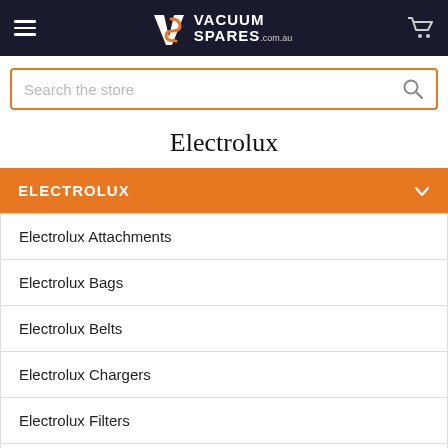VS VACUUM SPARES .com.au
Search the store
Electrolux
ELECTROLUX
Electrolux Attachments
Electrolux Bags
Electrolux Belts
Electrolux Chargers
Electrolux Filters
Electrolux Hoses